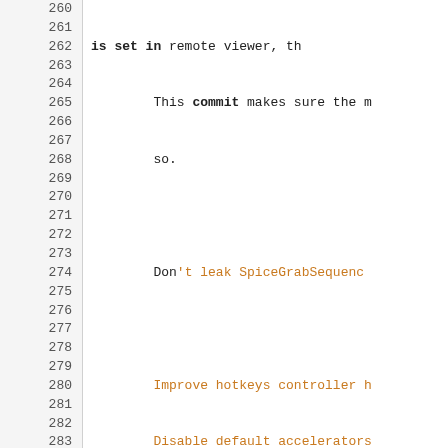Source code changelog/diff view showing lines 260-290 with line numbers and mixed black/orange monospace text representing a git log output.